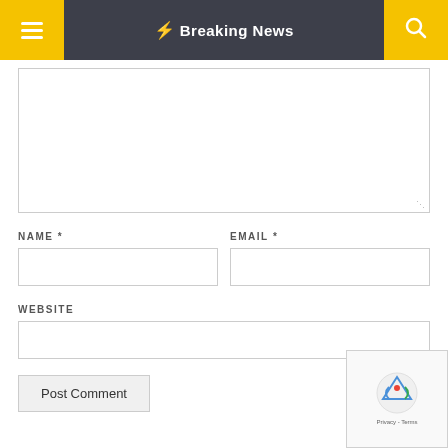Breaking News
[Figure (screenshot): Comment textarea input area with resize handle, partially visible at top of content]
NAME *
EMAIL *
WEBSITE
Post Comment
[Figure (other): reCAPTCHA verification widget with logo and Privacy - Terms text]